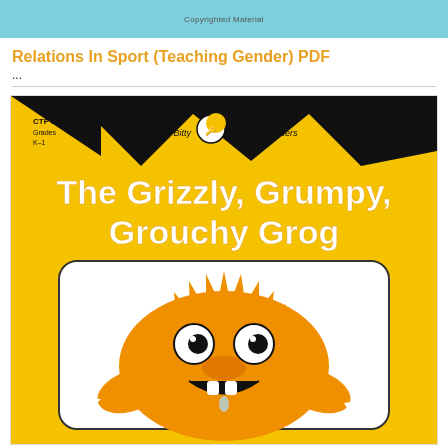Copyrighted Material
Relations In Sport (Teaching Gender) PDF
...
[Figure (illustration): Book cover of 'The Grizzly, Grumpy, Grouchy Grog' - an Itty Bitty Phonics Readers book (CTP 3349, Grades K-1) featuring the letters 'gr'. The cover is yellow with black triangular mountain shapes at top, white bold title text, and a cartoon illustration of a furry grumpy creature with big eyes, teeth, and claws in a white rounded rectangle.]